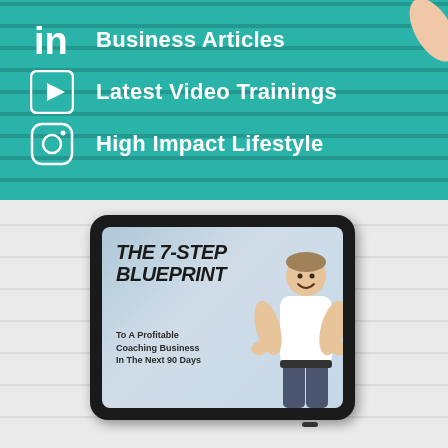Business Articles
Latest Video Trainings
High Impact Lifestyle
[Figure (illustration): Tablet device showing 'The 7-Step Blueprint To A Profitable Coaching Business In The Next 90 Days' with a man in a white shirt pointing, displayed against a light brick wall background]